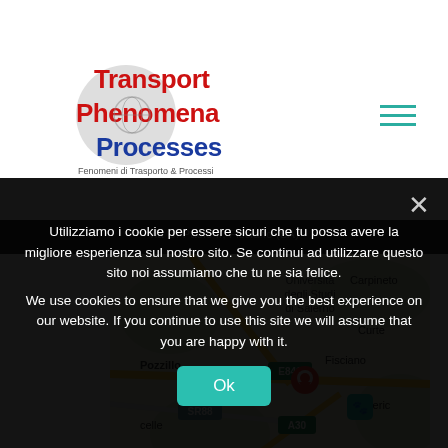[Figure (logo): Transport Phenomena Processes logo with red/blue text and globe icon, tagline 'Fenomeni di Trasporto & Processi']
[Figure (map): Google Maps screenshot showing Fisciano area near Università degli Studi di Salerno, with roads E841, SR88, A30, and locations Pozzillo, Carpineto, Fisciano, Periferica, Area attrezzata visible]
Utilizziamo i cookie per essere sicuri che tu possa avere la migliore esperienza sul nostro sito. Se continui ad utilizzare questo sito noi assumiamo che tu ne sia felice.
We use cookies to ensure that we give you the best experience on our website. If you continue to use this site we will assume that you are happy with it.